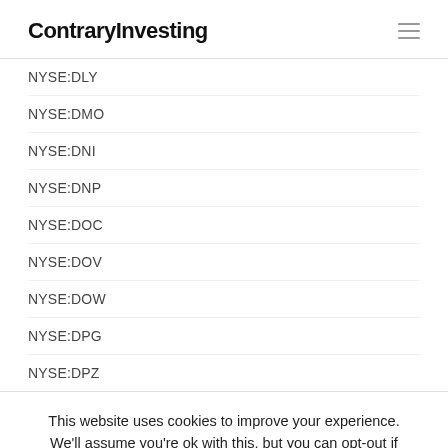ContraryInvesting
NYSE:DLY
NYSE:DMO
NYSE:DNI
NYSE:DNP
NYSE:DOC
NYSE:DOV
NYSE:DOW
NYSE:DPG
NYSE:DPZ
This website uses cookies to improve your experience. We'll assume you're ok with this, but you can opt-out if you wish. Cookie settings ACCEPT